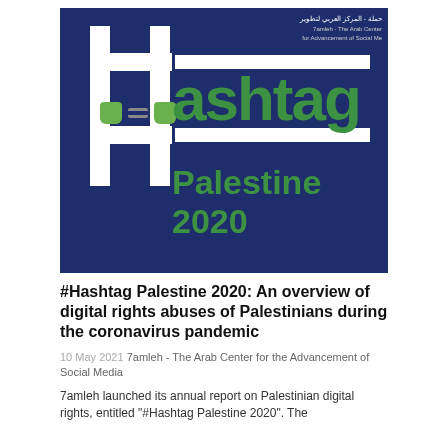[Figure (logo): Hashtag Palestine 2020 logo on dark navy blue background with white hashtag symbol incorporating handcuffs (green fists), and green text reading 'ashtag' and 'Palestine 2020'. Arabic text and English subtitle of 7amleh organization in top right corner.]
#Hashtag Palestine 2020: An overview of digital rights abuses of Palestinians during the coronavirus pandemic
10 May 2021 7amleh - The Arab Center for the Advancement of Social Media
7amleh launched its annual report on Palestinian digital rights, entitled "#Hashtag Palestine 2020". The